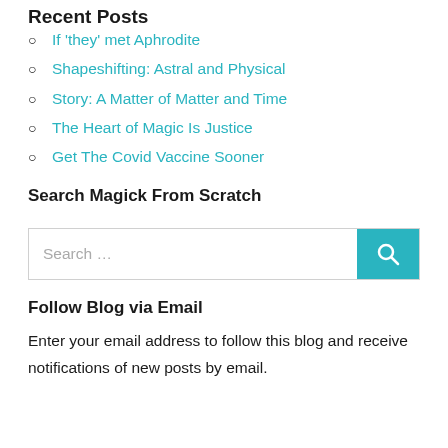Recent Posts
If 'they' met Aphrodite
Shapeshifting: Astral and Physical
Story: A Matter of Matter and Time
The Heart of Magic Is Justice
Get The Covid Vaccine Sooner
Search Magick From Scratch
Search …
Follow Blog via Email
Enter your email address to follow this blog and receive notifications of new posts by email.